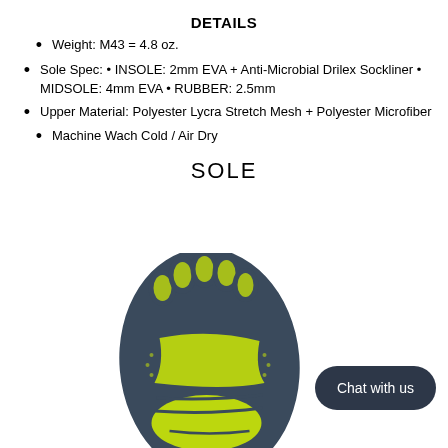DETAILS
Weight: M43 = 4.8 oz.
Sole Spec: • INSOLE: 2mm EVA + Anti-Microbial Drilex Sockliner • MIDSOLE: 4mm EVA • RUBBER: 2.5mm
Upper Material: Polyester Lycra Stretch Mesh + Polyester Microfiber
Machine Wach Cold / Air Dry
SOLE
[Figure (photo): Bottom sole view of a five-toe shoe with yellow-green and dark gray rubber tread pattern showing individual toe compartments]
Chat with us